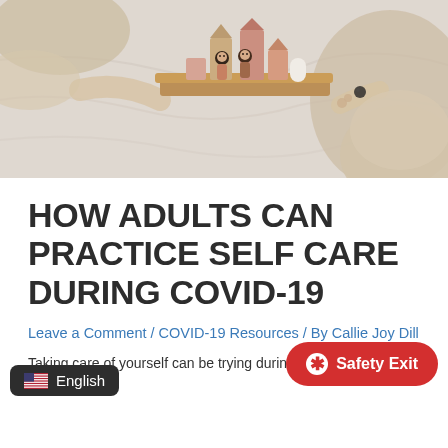[Figure (photo): Two children playing with wooden toy blocks and figurines on a bed with white linen. Warm-toned wooden geometric shapes and small peg doll figures are arranged on a wooden tray between the children's hands.]
HOW ADULTS CAN PRACTICE SELF CARE DURING COVID-19
Leave a Comment / COVID-19 Resources / By Callie Joy Dill
Taking care of yourself can be trying during typical times, but...